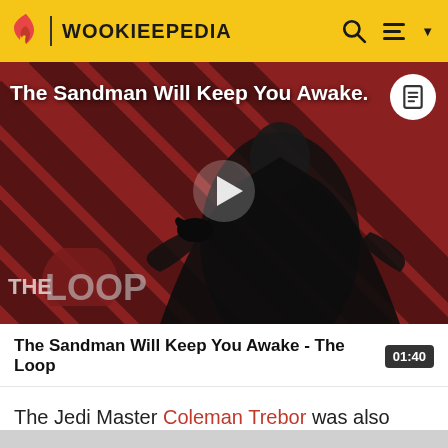WOOKIEEPEDIA
[Figure (screenshot): Video thumbnail showing a dark-cloaked figure with a crow, red and black diagonal striped background, 'THE LOOP' text overlay, play button in center. Title text overlay: 'The Sandman Will Keep You Awake.']
The Sandman Will Keep You Awake - The Loop  01:40
The Jedi Master Coleman Trebor was also originally named Sar Labooda.